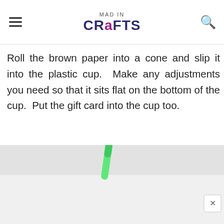MAD IN CRAFTS
Roll the brown paper into a cone and slip it into the plastic cup. Make any adjustments you need so that it sits flat on the bottom of the cup. Put the gift card into the cup too.
[Figure (photo): Photo of a green straw or item sticking up from a cup, with a light gray background. A close/X button is visible in the lower right area.]